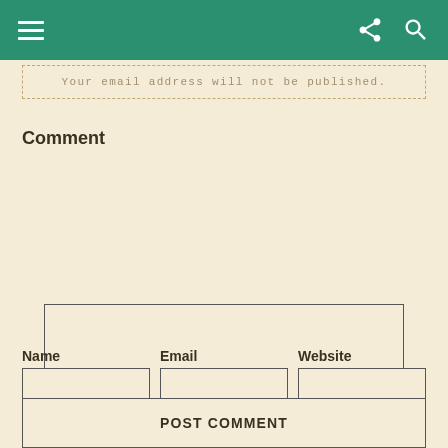Your email address will not be published.
Comment
Name
Email
Website
POST COMMENT